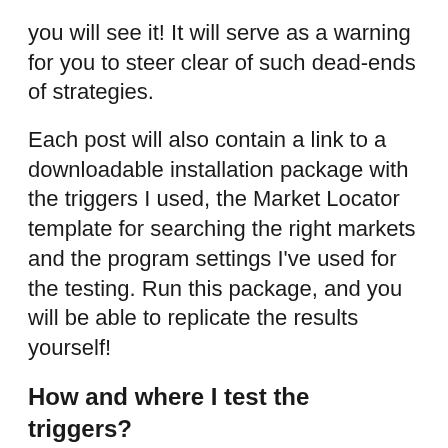you will see it! It will serve as a warning for you to steer clear of such dead-ends of strategies.
Each post will also contain a link to a downloadable installation package with the triggers I used, the Market Locator template for searching the right markets and the program settings I've used for the testing. Run this package, and you will be able to replicate the results yourself!
How and where I test the triggers?
I use our BetVPS service to pre-set the triggers and Market Locator and leave it to run on its own until I check on the results at the end of the day.
I occasionally use Time Machine to get a proof of concept or test any tweaks that I want to make to my triggers, on historical markets similar to the ones in which I bet when